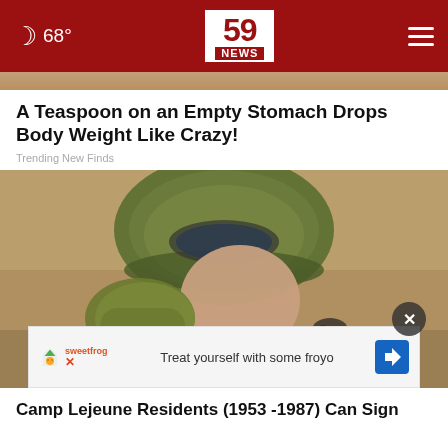68° | 59 NEWS
[Figure (photo): Partial image at top, cropped]
A Teaspoon on an Empty Stomach Drops Body Weight Like Crazy!
Trending New Finds
[Figure (photo): Soldier in combat gear and helmet drinking from a military canteen, wearing goggles and camouflage]
Treat yourself with some froyo
Camp Lejeune Residents (1953 -1987) Can Sign